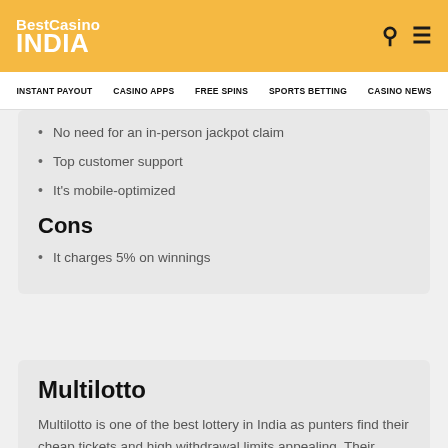BestCasino INDIA
INSTANT PAYOUT   CASINO APPS   FREE SPINS   SPORTS BETTING   CASINO NEWS
No need for an in-person jackpot claim
Top customer support
It's mobile-optimized
Cons
It charges 5% on winnings
Multilotto
Multilotto is one of the best lottery in India as punters find their cheap tickets and high withdrawal limits appealing. Their pricing